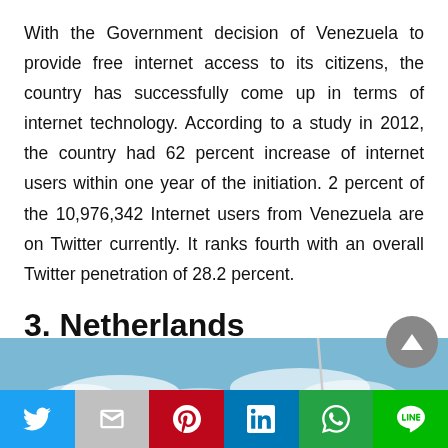With the Government decision of Venezuela to provide free internet access to its citizens, the country has successfully come up in terms of internet technology. According to a study in 2012, the country had 62 percent increase of internet users within one year of the initiation. 2 percent of the 10,976,342 Internet users from Venezuela are on Twitter currently. It ranks fourth with an overall Twitter penetration of 28.2 percent.
3. Netherlands
[Figure (photo): Partial photo showing a blue sky with clouds and what appears to be a tall structure or tower.]